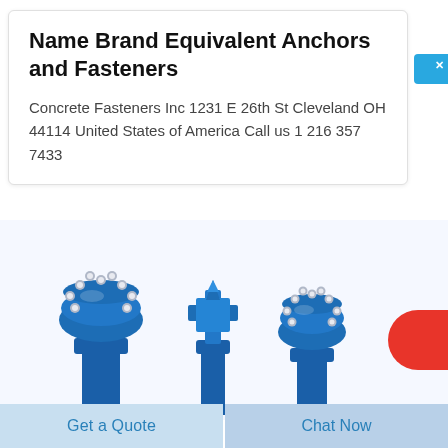Name Brand Equivalent Anchors and Fasteners
Concrete Fasteners Inc 1231 E 26th St Cleveland OH 44114 United States of America Call us 1 216 357 7433
[Figure (photo): Three blue drill bits / rock drill button bits of different sizes and styles arranged side by side against a light background]
在线咨询
Get a Quote
Chat Now